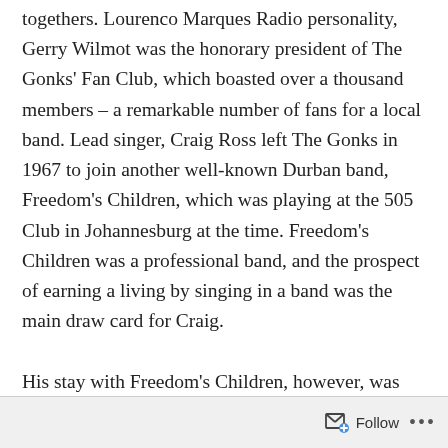togethers. Lourenco Marques Radio personality, Gerry Wilmot was the honorary president of The Gonks' Fan Club, which boasted over a thousand members – a remarkable number of fans for a local band. Lead singer, Craig Ross left The Gonks in 1967 to join another well-known Durban band, Freedom's Children, which was playing at the 505 Club in Johannesburg at the time. Freedom's Children was a professional band, and the prospect of earning a living by singing in a band was the main draw card for Craig.

His stay with Freedom's Children, however, was
Follow